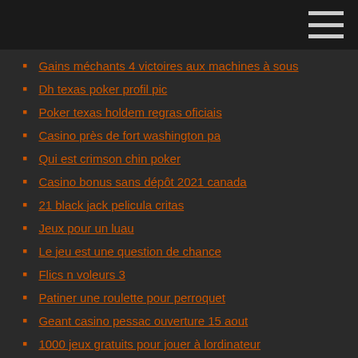Gains méchants 4 victoires aux machines à sous
Dh texas poker profil pic
Poker texas holdem regras oficiais
Casino près de fort washington pa
Qui est crimson chin poker
Casino bonus sans dépôt 2021 canada
21 black jack pelicula critas
Jeux pour un luau
Le jeu est une question de chance
Flics n voleurs 3
Patiner une roulette pour perroquet
Geant casino pessac ouverture 15 aout
1000 jeux gratuits pour jouer à lordinateur
Sac sport a roulette adidas